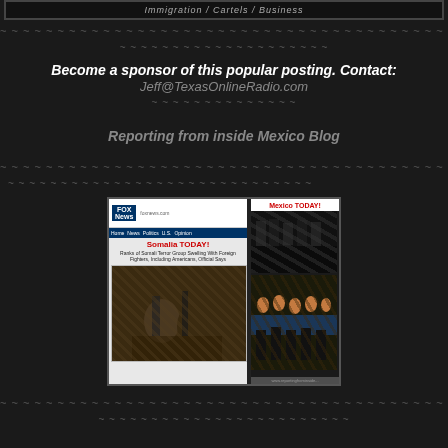Immigration / Cartels / Business
~ ~ ~ ~ ~ ~ ~ ~ ~ ~ ~ ~ ~ ~ ~ ~ ~ ~ ~ ~ ~ ~ ~ ~ ~ ~ ~ ~ ~ ~ ~ ~ ~ ~ ~ ~ ~ ~ ~ ~ ~ ~ ~ ~ ~ ~ ~ ~ ~ ~ ~ ~ ~ ~ ~ ~ ~ ~ ~ ~ ~ ~ ~ ~
~ ~ ~ ~ ~ ~ ~ ~ ~ ~ ~ ~ ~ ~ ~ ~ ~ ~ ~ ~
Become a sponsor of this popular posting.  Contact: Jeff@TexasOnlineRadio.com
~ ~ ~ ~ ~ ~ ~ ~ ~ ~ ~ ~ ~ ~
Reporting from inside Mexico Blog
~ ~ ~ ~ ~ ~ ~ ~ ~ ~ ~ ~ ~ ~ ~ ~ ~ ~ ~ ~ ~ ~ ~ ~ ~ ~ ~ ~ ~ ~ ~ ~ ~ ~ ~ ~ ~ ~ ~ ~ ~ ~ ~ ~ ~ ~ ~ ~ ~ ~ ~ ~ ~ ~ ~ ~ ~ ~ ~ ~ ~ ~ ~ ~
~ ~ ~ ~ ~ ~ ~ ~ ~ ~ ~ ~ ~ ~ ~ ~ ~ ~ ~ ~ ~ ~ ~ ~ ~ ~ ~ ~ ~
[Figure (screenshot): Composite image showing Fox News article about Somalia TODAY on the left with headline 'Ranks of Somali Terror Group Swelling With Foreign Fighters, Including Americans, Official Says' and images of armed fighters, and on the right a 'Mexico TODAY!' panel with photos of armed cartel members.]
~ ~ ~ ~ ~ ~ ~ ~ ~ ~ ~ ~ ~ ~ ~ ~ ~ ~ ~ ~ ~ ~ ~ ~ ~ ~ ~ ~ ~ ~ ~ ~ ~ ~ ~ ~ ~ ~ ~ ~ ~ ~ ~ ~ ~ ~ ~ ~ ~ ~ ~ ~ ~ ~ ~ ~ ~ ~ ~ ~ ~ ~ ~ ~
~ ~ ~ ~ ~ ~ ~ ~ ~ ~ ~ ~ ~ ~ ~ ~ ~ ~ ~ ~ ~ ~ ~ ~